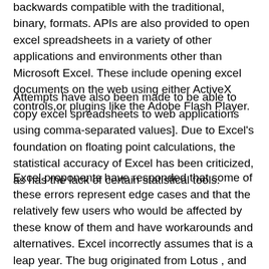formats as replacements, Excel is still backwards compatible with the traditional, binary, formats. APIs are also provided to open excel spreadsheets in a variety of other applications and environments other than Microsoft Excel. These include opening excel documents on the web using either ActiveX controls,or plugins like the Adobe Flash Player.
Attempts have also been made to be able to copy excel spreadsheets to web applications using comma-separated values]. Due to Excel's foundation on floating point calculations, the statistical accuracy of Excel has been criticized, as has the lack of certain statistical tools.
Excel proponents have responded that some of these errors represent edge cases and that the relatively few users who would be affected by these know of them and have workarounds and alternatives. Excel incorrectly assumes that is a leap year. The bug originated from Lotus , and was implemented in Excel for the purpose of backward compatibility. Excel also supports the second date format based on year epoch. Criticisms of spreadsheets in general also apply significantly to Excel.